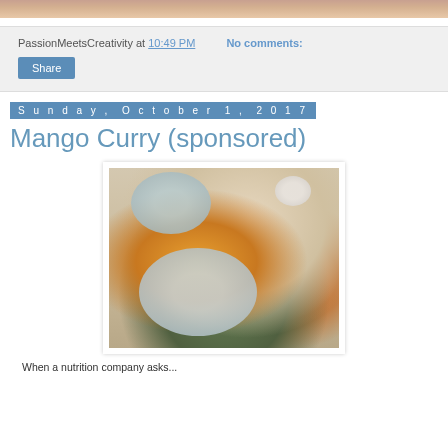[Figure (photo): Partial banner image at top of page — food/lifestyle imagery cropped]
PassionMeetsCreativity at 10:49 PM    No comments:
Share
Sunday, October 1, 2017
Mango Curry (sponsored)
[Figure (photo): Photo of two bowls of mango curry with vegetables (pumpkin, green beans, carrots, shrimp in golden curry sauce) on a light wood surface, with a small bowl of dipping sauce]
When a nutrition company asks...